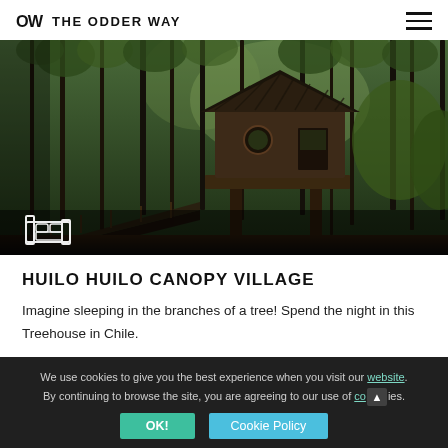OW THE ODDER WAY
[Figure (photo): A treehouse cabin elevated in a forested area with tall trees, connected by a wooden walkway/bridge. The cabin has a dark angular roof. Photo taken at Huilo Huilo Canopy Village, Chile. A bed icon is overlaid in the lower left of the image.]
HUILO HUILO CANOPY VILLAGE
Imagine sleeping in the branches of a tree! Spend the night in this Treehouse in Chile.
We use cookies to give you the best experience when you visit our website. By continuing to browse the site, you are agreeing to our use of cookies.